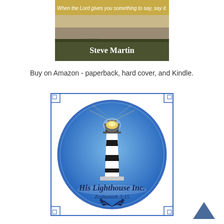[Figure (illustration): Book cover image showing 'When the Lord gives you something to say, say it.' with author name 'Steve Martin' on a dark olive banner, and a sandy/rocky background image.]
Buy on Amazon - paperback, hard cover, and Kindle.
[Figure (logo): His Lighthouse Inc. logo — circular blue gradient with a black and white striped lighthouse, glowing yellow light, text 'His Lighthouse Inc.' in italic serif font, 'Zephaniah 3:15' below, leaf/branch decorative element at bottom, all inside a square decorative border frame.]
[Figure (other): Dark navy/blue upward-pointing chevron arrow icon for back-to-top navigation.]